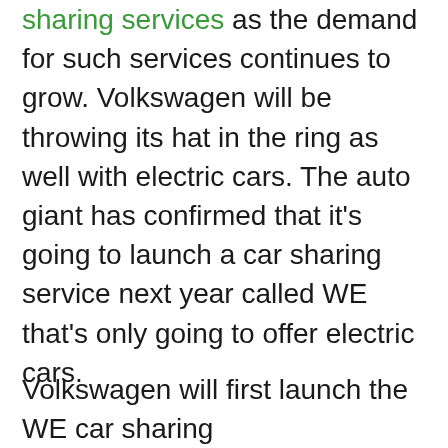sharing services as the demand for such services continues to grow. Volkswagen will be throwing its hat in the ring as well with electric cars. The auto giant has confirmed that it's going to launch a car sharing service next year called WE that's only going to offer electric cars.
Volkswagen will first launch the WE car sharing